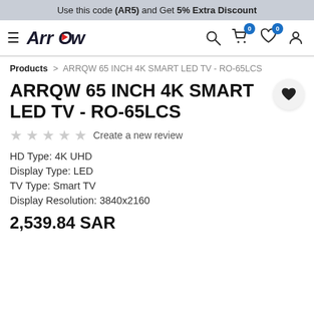Use this code (AR5) and Get 5% Extra Discount
[Figure (logo): Arrow brand logo with hamburger menu icon on the left and navigation icons (search, cart with 0 badge, wishlist with 0 badge, account) on the right]
Products > ARRQW 65 INCH 4K SMART LED TV - RO-65LCS
ARRQW 65 INCH 4K SMART LED TV - RO-65LCS
☆ ☆ ☆ ☆ ☆ Create a new review
HD Type: 4K UHD
Display Type: LED
TV Type: Smart TV
Display Resolution: 3840x2160
2,539.84 SAR